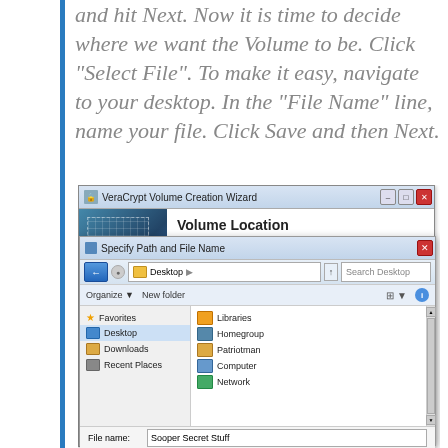and hit Next. Now it is time to decide where we want the Volume to be. Click "Select File". To make it easy, navigate to your desktop. In the "File Name" line, name your file. Click Save and then Next.
[Figure (screenshot): Screenshot of VeraCrypt Volume Creation Wizard showing 'Volume Location' dialog with a 'Select File...' button and a 'Never save history' checkbox, overlaid by the 'Specify Path and File Name' file picker dialog showing Desktop navigation with Favorites sidebar (Desktop, Downloads, Recent Places) and main area showing Libraries, Homegroup, Patriotman, Computer, Network. The file name field shows 'Sooper Secret Stuff' and save as type shows 'All Files (*.*)'.]